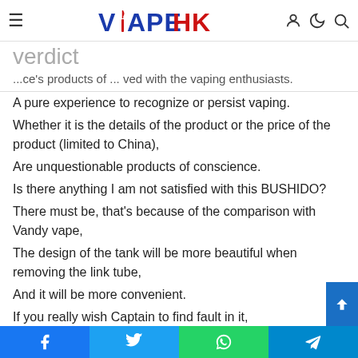VAPEHK
verdict
...ce's products of ... vaping enthusiasts.
A pure experience to recognize or persist vaping.
Whether it is the details of the product or the price of the product (limited to China),
Are unquestionable products of conscience.
Is there anything I am not satisfied with this BUSHIDO?
There must be, that's because of the comparison with Vandy vape,
The design of the tank will be more beautiful when removing the link tube,
And it will be more convenient.
If you really wish Captain to find fault in it,
The answer of Captain is, “No, it’s perfect!”
As to the accessory support for the follow-up, Bruce did it in...